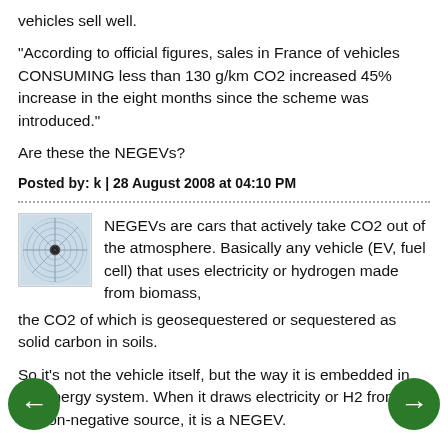vehicles sell well.
"According to official figures, sales in France of vehicles CONSUMING less than 130 g/km CO2 increased 45% increase in the eight months since the scheme was introduced."
Are these the NEGEVs?
Posted by: k | 28 August 2008 at 04:10 PM
[Figure (illustration): Small circular avatar image with a spiral/radial pattern]
NEGEVs are cars that actively take CO2 out of the atmosphere. Basically any vehicle (EV, fuel cell) that uses electricity or hydrogen made from biomass, the CO2 of which is geosequestered or sequestered as solid carbon in soils.
So it's not the vehicle itself, but the way it is embedded in the energy system. When it draws electricity or H2 from carbon-negative source, it is a NEGEV.